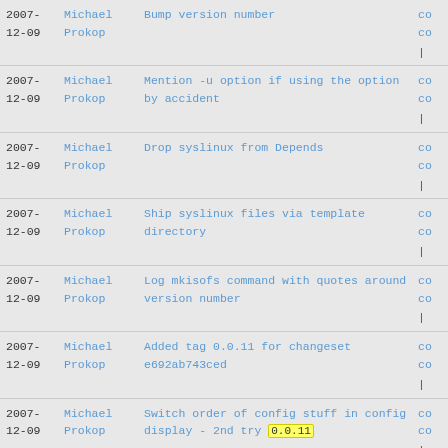2007-12-09 Michael Prokop Bump version number com | com |
2007-12-09 Michael Prokop Mention -u option if using the option by accident com | com |
2007-12-09 Michael Prokop Drop syslinux from Depends com | com |
2007-12-09 Michael Prokop Ship syslinux files via template directory com | com |
2007-12-09 Michael Prokop Log mkisofs command with quotes around version number com | com |
2007-12-09 Michael Prokop Added tag 0.0.11 for changeset e692ab743ced com | com |
2007-12-09 Michael Prokop Switch order of config stuff in config display - 2nd try 0.0.11 com | com |